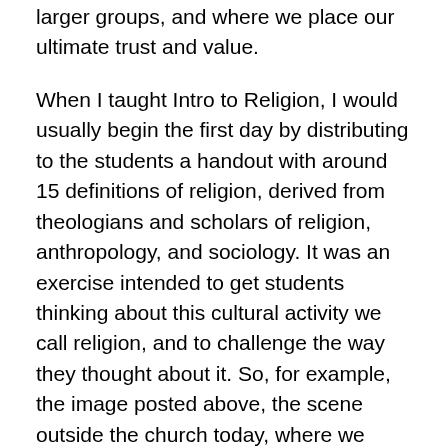larger groups, and where we place our ultimate trust and value.
When I taught Intro to Religion, I would usually begin the first day by distributing to the students a handout with around 15 definitions of religion, derived from theologians and scholars of religion, anthropology, and sociology. It was an exercise intended to get students thinking about this cultural activity we call religion, and to challenge the way they thought about it. So, for example, the image posted above, the scene outside the church today, where we have a shrine erected to Wisconsin’s true religion.
I know this sounds all terribly abstract, but let me point out something important. The word “religion” in the verse I quoted a few minutes ago actually means devotion or worship. That puts a rather different spin on things, doesn’t